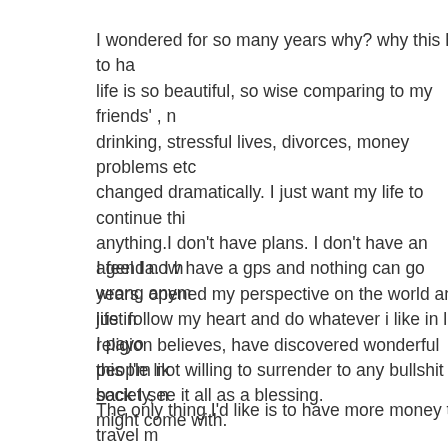I wondered for so many years why? why this had to ha... life is so beautiful, so wise comparing to my friends' , n... drinking, stressful lives, divorces, money problems etc... changed dramatically. I just want my life to continue thi... anything.I don't have plans. I don't have an agenda. I h... years, opened my perspective on the world and life in ... religion believes, have discovered wonderful people lik... back I see it all as a blessing.
I feel I now have a gps and nothing can go wrong anym... just follow my heart and do whatever i like in life. I payo... this I'm not willing to surrender to any bullshit society, n... might come with.
The only thing I'd like is to have more money to travel m... enjoy this ride.